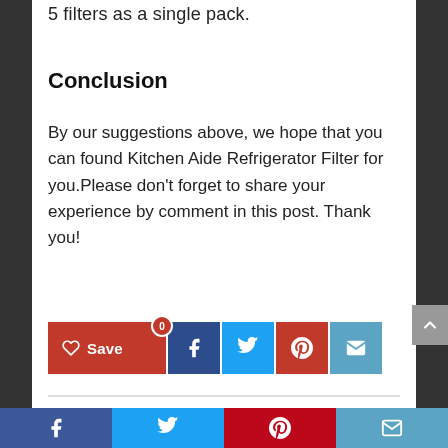5 filters as a single pack.
Conclusion
By our suggestions above, we hope that you can found Kitchen Aide Refrigerator Filter for you.Please don’t forget to share your experience by comment in this post. Thank you!
[Figure (other): Social share buttons: Save (heart icon, red), Facebook (blue), Twitter (light blue), Pinterest (red), Email (blue-gray). Bottom bar: Facebook, Twitter, Pinterest, Email icons in respective brand colors.]